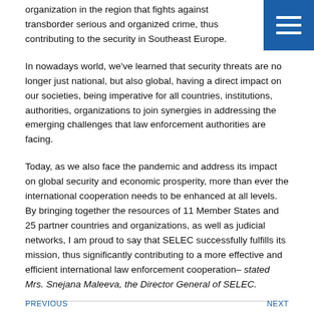organization in the region that fights against transborder serious and organized crime, thus contributing to the security in Southeast Europe.
In nowadays world, we've learned that security threats are no longer just national, but also global, having a direct impact on our societies, being imperative for all countries, institutions, authorities, organizations to join synergies in addressing the emerging challenges that law enforcement authorities are facing.
Today, as we also face the pandemic and address its impact on global security and economic prosperity, more than ever the international cooperation needs to be enhanced at all levels. By bringing together the resources of 11 Member States and 25 partner countries and organizations, as well as judicial networks, I am proud to say that SELEC successfully fulfills its mission, thus significantly contributing to a more effective and efficient international law enforcement cooperation– stated Mrs. Snejana Maleeva, the Director General of SELEC.
PREVIOUS  |  NEXT